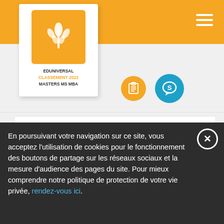[Figure (logo): Eduniversal logo — orange square with wheat/palm icon, text EDUNIVERSAL CLASSEMENT 2022 MASTERS MS MBA]
27. ESGCI
Mastère Stratégie et Marketing
[Figure (infographic): Three orange stars (rating), clipboard icon (orange circle), S chat icon (blue circle)]
28. ECEMA
En poursuivant votre navigation sur ce site, vous acceptez l'utilisation de cookies pour le fonctionnement des boutons de partage sur les réseaux sociaux et la mesure d'audience des pages du site. Pour mieux comprendre notre politique de protection de votre vie privée, rendez-vous ici.